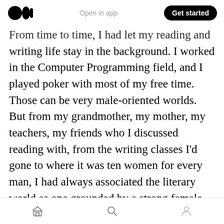Open in app | Get started
From time to time, I had let my reading and writing life stay in the background. I worked in the Computer Programming field, and I played poker with most of my free time. Those can be very male-oriented worlds. But from my grandmother, my mother, my teachers, my friends who I discussed reading with, from the writing classes I’d gone to where it was ten women for every man, I had always associated the literary world as one grounded by a strong female perspective. It was an eve opener for me to hear from writer. [clap 15] [comment] ; at a panel at the AWP conference in Seattle the level of sexism